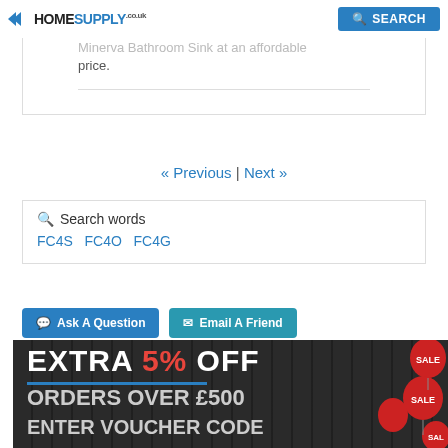HomeSupply.co.uk | SEARCH
Minerva Bathroom Sink at an affordable price.
« Previous | Next »
Search words FC4S FC4O FC4G
Ask A Question   Email A Friend
[Figure (infographic): Promotional banner: EXTRA 5% OFF ORDERS OVER £500 ENTER VOUCHER CODE, with red sale balloons on the right]